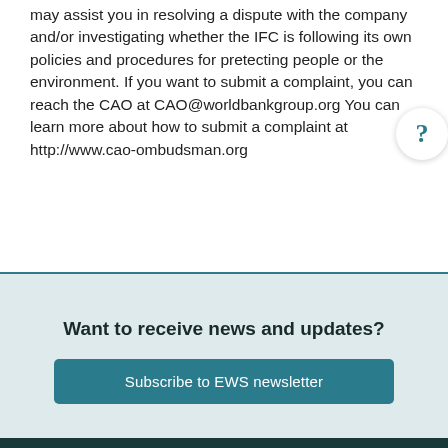may assist you in resolving a dispute with the company and/or investigating whether the IFC is following its own policies and procedures for protecting people or the environment. If you want to submit a complaint, you can reach the CAO at CAO@worldbankgroup.org You can learn more about how to submit a complaint at http://www.cao-ombudsman.org
Want to receive news and updates?
Subscribe to EWS newsletter